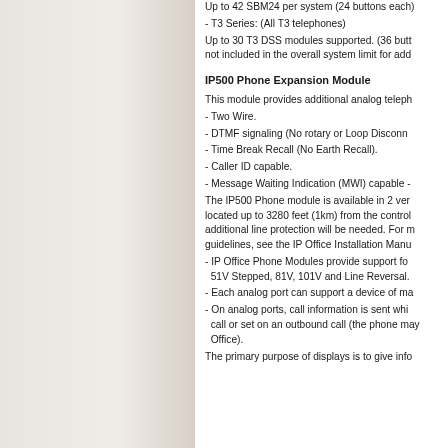Up to 42 SBM24 per system (24 buttons each)
-•T3 Series: (All T3 telephones)
Up to 30 T3 DSS modules supported. (36 buttons each) not included in the overall system limit for add.
IP500 Phone Expansion Module
This module provides additional analog teleph...
-•Two Wire.
-•DTMF signaling (No rotary or Loop Disconn...
-•Time Break Recall (No Earth Recall).
-•Caller ID capable.
-•Message Waiting Indication (MWI) capable -
The IP500 Phone module is available in 2 versions. located up to 3280 feet (1km) from the control unit. additional line protection will be needed. For more guidelines, see the IP Office Installation Manual.
-•IP Office Phone Modules provide support for 51V Stepped, 81V, 101V and Line Reversal.
-•Each analog port can support a device of ma...
-•On analog ports, call information is sent while call or set on an outbound call (the phone may... Office).
The primary purpose of displays is to give info... Displays to be known as notes the line...